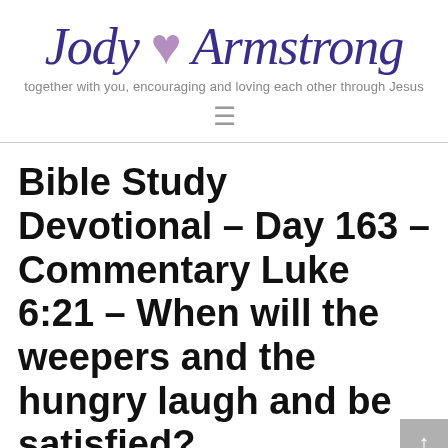Jody ♥ Armstrong — together with you, encouraging and loving each other through Jesus
Bible Study Devotional – Day 163 – Commentary Luke 6:21 – When will the weepers and the hungry laugh and be satisfied?